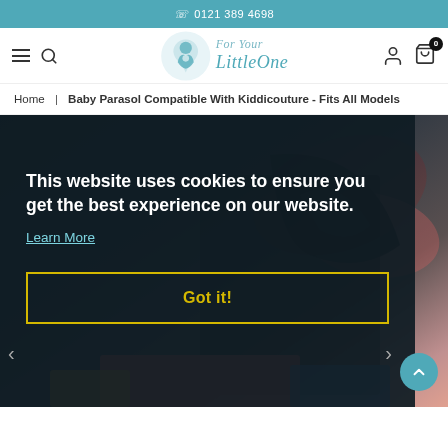0121 389 4698
[Figure (logo): For Your Little One website logo with mother-child silhouette icon]
Home | Baby Parasol Compatible With Kiddicouture - Fits All Models
This website uses cookies to ensure you get the best experience on our website.
Learn More
Got it!
[Figure (photo): Dark background product photo showing colorful parasols/umbrellas]